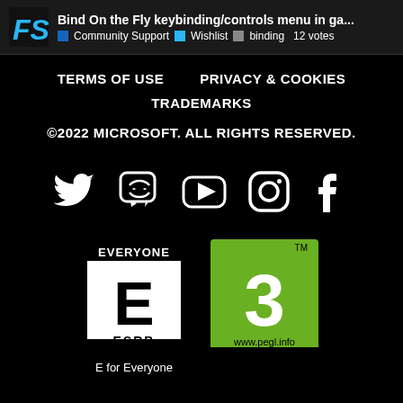Bind On the Fly keybinding/controls menu in ga... | Community Support | Wishlist | binding | 12 votes
TERMS OF USE   PRIVACY & COOKIES
TRADEMARKS
©2022 MICROSOFT. ALL RIGHTS RESERVED.
[Figure (illustration): Social media icons: Twitter, Discord, YouTube, Instagram, Facebook]
[Figure (illustration): ESRB rating logo: E for Everyone]
E for Everyone
[Figure (illustration): PEGI 3 rating logo: www.pegl.info]